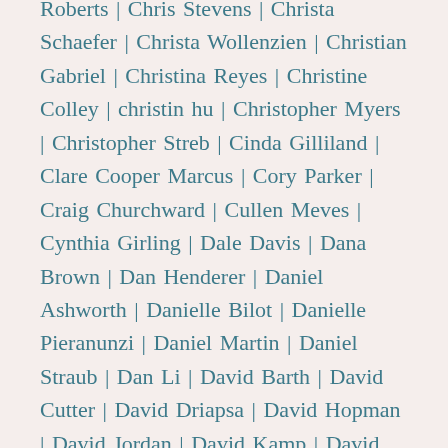Roberts | Chris Stevens | Christa Schaefer | Christa Wollenzien | Christian Gabriel | Christina Reyes | Christine Colley | christin hu | Christopher Myers | Christopher Streb | Cinda Gilliland | Clare Cooper Marcus | Cory Parker | Craig Churchward | Cullen Meves | Cynthia Girling | Dale Davis | Dana Brown | Dan Henderer | Daniel Ashworth | Danielle Bilot | Danielle Pieranunzi | Daniel Martin | Daniel Straub | Dan Li | David Barth | David Cutter | David Driapsa | David Hopman | David Jordan | David Kamp | David Leonard | David Myers | Davis Harte | Dawn Dyer | Dean Gregory | Dean Koonts | Debbie Lee Bester | Deb Guenther | Deborah Dietrich-Smith | Deborah Steinberg | Deirdre Toner | Dennis Carmichael | Devon Santy | Diana Fernandez | Diane Jones Allen | Donald Molnar | Donna Evans | Douglas Nelson | Dou Zhang | Eddie Nolan | Edward Flaherty | Edwina St. Rose | Elaine Linn | Elena Pascarella | Elisabeth McCollum | Elizabeth Auvil | Elizabeth Boults | Ellen Barth Alster | Elyna Grapstein | Emily Henke | Emily McCoy | Emily O'Mahoney | Emily Paskewicz | Emily Schlickman | Eric